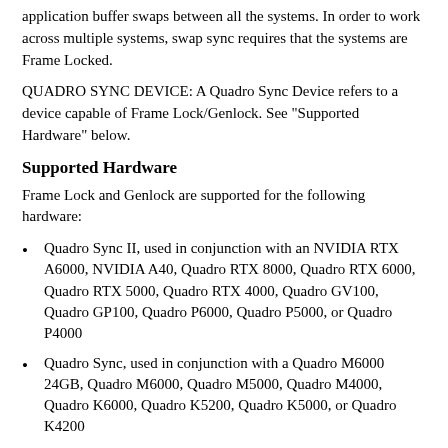application buffer swaps between all the systems. In order to work across multiple systems, swap sync requires that the systems are Frame Locked.
QUADRO SYNC DEVICE: A Quadro Sync Device refers to a device capable of Frame Lock/Genlock. See "Supported Hardware" below.
Supported Hardware
Frame Lock and Genlock are supported for the following hardware:
Quadro Sync II, used in conjunction with an NVIDIA RTX A6000, NVIDIA A40, Quadro RTX 8000, Quadro RTX 6000, Quadro RTX 5000, Quadro RTX 4000, Quadro GV100, Quadro GP100, Quadro P6000, Quadro P5000, or Quadro P4000
Quadro Sync, used in conjunction with a Quadro M6000 24GB, Quadro M6000, Quadro M5000, Quadro M4000, Quadro K6000, Quadro K5200, Quadro K5000, or Quadro K4200
Hardware Setup